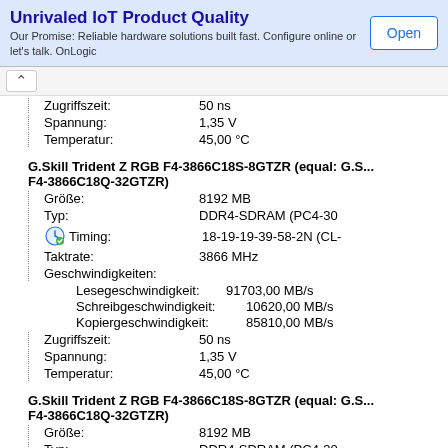[Figure (screenshot): Advertisement banner: Unrivaled IoT Product Quality with Open button]
Zugriffszeit: 50 ns
Spannung: 1,35 V
Temperatur: 45,00 °C
G.Skill Trident Z RGB F4-3866C18S-8GTZR (equal: G.Skill F4-3866C18Q-32GTZR)
| Property | Value |
| --- | --- |
| Größe: | 8192 MB |
| Typ: | DDR4-SDRAM (PC4-30 |
| Timing: | 18-19-19-39-58-2N (CL- |
| Taktrate: | 3866 MHz |
| Geschwindigkeiten: |  |
| Lesegeschwindigkeit: | 91703,00 MB/s |
| Schreibgeschwindigkeit: | 10620,00 MB/s |
| Kopiergeschwindigkeit: | 85810,00 MB/s |
| Zugriffszeit: | 50 ns |
| Spannung: | 1,35 V |
| Temperatur: | 45,00 °C |
G.Skill Trident Z RGB F4-3866C18S-8GTZR (equal: G.Skill F4-3866C18Q-32GTZR)
| Property | Value |
| --- | --- |
| Größe: | 8192 MB |
| Typ: | DDR4-SDRAM (PC4-30 |
| Timing: | 18-19-19-39-58-2N (CL- |